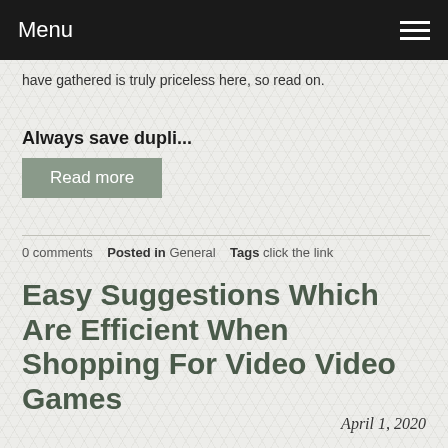Menu
have gathered is truly priceless here, so read on.
Always save dupli...
Read more
0 comments   Posted in General   Tags click the link
Easy Suggestions Which Are Efficient When Shopping For Video Video Games
April 1, 2020
What's more thrilling or potentially extra academic than the